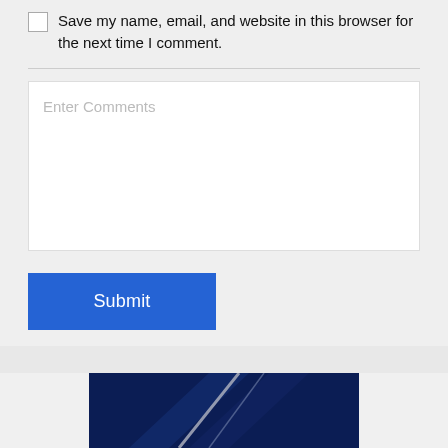Save my name, email, and website in this browser for the next time I comment.
Enter Comments
Submit
[Figure (photo): Partial view of a dark blue and navy abstract image with diagonal white/light lines, visible at the bottom of the page.]